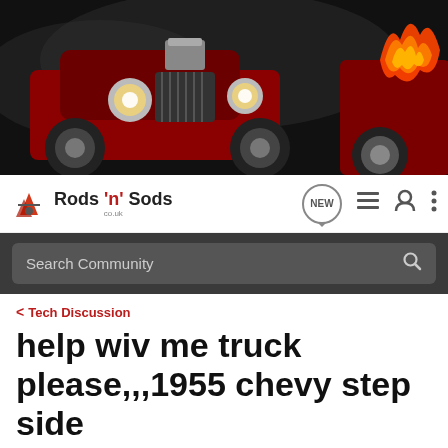[Figure (illustration): Rods'n'Sods website banner showing hot rod cars on dark background with flames]
[Figure (logo): Rods'n'Sods logo with flame icons and navigation icons including NEW bubble, list, profile, and menu icons]
Search Community
< Tech Discussion
help wiv me truck please,,,1955 chevy step side
→ Jump to Latest
+ Follow
1 - 13 of 13 Posts